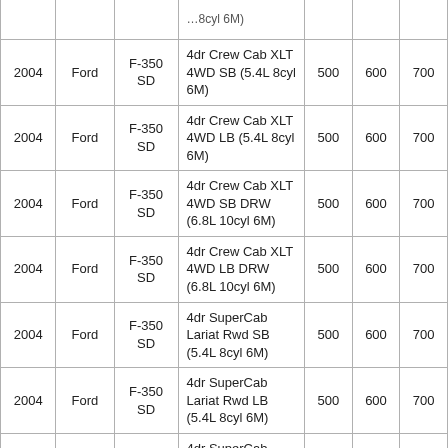| Year | Make | Model | Description | Col1 | Col2 | Col3 |
| --- | --- | --- | --- | --- | --- | --- |
| 2004 | Ford | F-350 SD | 4dr Crew Cab XLT 4WD SB (5.4L 8cyl 6M) | 500 | 600 | 700 |
| 2004 | Ford | F-350 SD | 4dr Crew Cab XLT 4WD LB (5.4L 8cyl 6M) | 500 | 600 | 700 |
| 2004 | Ford | F-350 SD | 4dr Crew Cab XLT 4WD SB DRW (6.8L 10cyl 6M) | 500 | 600 | 700 |
| 2004 | Ford | F-350 SD | 4dr Crew Cab XLT 4WD LB DRW (6.8L 10cyl 6M) | 500 | 600 | 700 |
| 2004 | Ford | F-350 SD | 4dr SuperCab Lariat Rwd SB (5.4L 8cyl 6M) | 500 | 600 | 700 |
| 2004 | Ford | F-350 SD | 4dr SuperCab Lariat Rwd LB (5.4L 8cyl 6M) | 500 | 600 | 700 |
| 2004 | Ford | F-350 SD | 4dr SuperCab Lariat Rwd LB DRW (5.4L 8cyl 6M) | 500 | 600 | 700 |
|  |  |  | 4dr SuperCab |  |  |  |